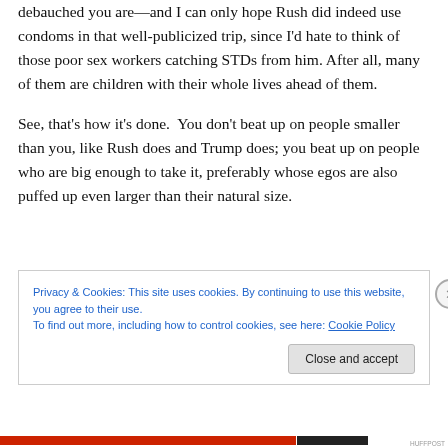debauched you are—and I can only hope Rush did indeed use condoms in that well-publicized trip, since I'd hate to think of those poor sex workers catching STDs from him. After all, many of them are children with their whole lives ahead of them.
See, that's how it's done.  You don't beat up on people smaller than you, like Rush does and Trump does; you beat up on people who are big enough to take it, preferably whose egos are also puffed up even larger than their natural size.
Privacy & Cookies: This site uses cookies. By continuing to use this website, you agree to their use.
To find out more, including how to control cookies, see here: Cookie Policy